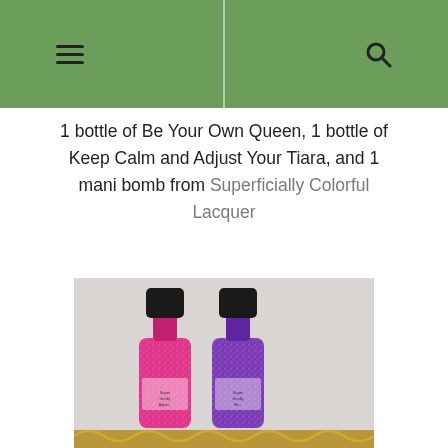Navigation header with hamburger menu and search icon
1 bottle of Be Your Own Queen, 1 bottle of Keep Calm and Adjust Your Tiara, and 1 mani bomb from Superficially Colorful Lacquer
[Figure (photo): Two nail polish bottles side by side — one pink/magenta glitter and one purple glitter — with black caps, on a light background with gold decorative elements at the bottom.]